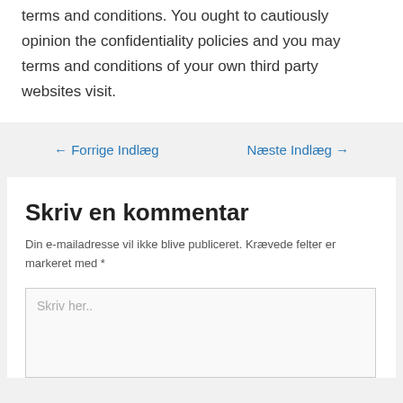terms and conditions. You ought to cautiously opinion the confidentiality policies and you may terms and conditions of your own third party websites visit.
← Forrige Indlæg    Næste Indlæg →
Skriv en kommentar
Din e-mailadresse vil ikke blive publiceret. Krævede felter er markeret med *
Skriv her..